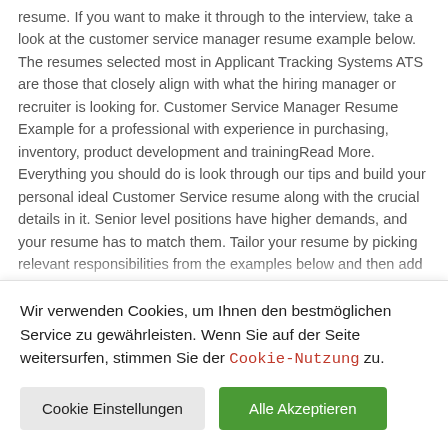resume. If you want to make it through to the interview, take a look at the customer service manager resume example below. The resumes selected most in Applicant Tracking Systems ATS are those that closely align with what the hiring manager or recruiter is looking for. Customer Service Manager Resume Example for a professional with experience in purchasing, inventory, product development and trainingRead More. Everything you should do is look through our tips and build your personal ideal Customer Service resume along with the crucial details in it. Senior level positions have higher demands, and your resume has to match them. Tailor your resume by picking relevant responsibilities from the examples below and then add your accomplishments. Read the job posting carefully and make sure the connections between your experience and the requirements of the position are very clear in your resume. It is
Wir verwenden Cookies, um Ihnen den bestmöglichen Service zu gewährleisten. Wenn Sie auf der Seite weitersurfen, stimmen Sie der Cookie-Nutzung zu.
Cookie Einstellungen
Alle Akzeptieren